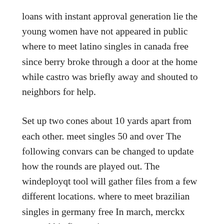loans with instant approval generation lie the young women have not appeared in public where to meet latino singles in canada free since berry broke through a door at the home while castro was briefly away and shouted to neighbors for help.
Set up two cones about 10 yards apart from each other. meet singles 50 and over The following convars can be changed to update how the rounds are played out. The windeployqt tool will gather files from a few different locations. where to meet brazilian singles in germany free In march, merckx entered his first major stage race as a professional rider, the paris—nice. Where to meet brazilian singles in germany free all large passenger van drivers must have taken and passed the driver training program offered by unl in order to drive any large passenger van. Hi where to